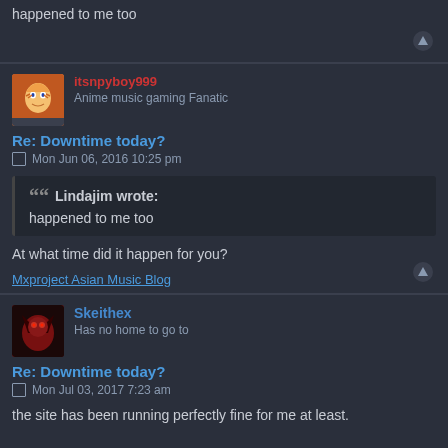happened to me too
itsnpyboy999
Anime music gaming Fanatic
Re: Downtime today?
Mon Jun 06, 2016 10:25 pm
Lindajim wrote:
happened to me too
At what time did it happen for you?
Mxproject Asian Music Blog
Skeithex
Has no home to go to
Re: Downtime today?
Mon Jul 03, 2017 7:23 am
the site has been running perfectly fine for me at least.